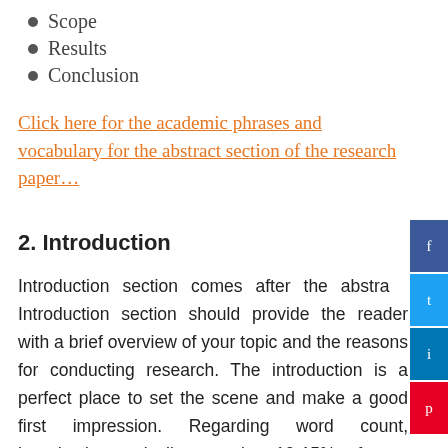Scope
Results
Conclusion
Click here for the academic phrases and vocabulary for the abstract section of the research paper…
2. Introduction
Introduction section comes after the abstract. Introduction section should provide the reader with a brief overview of your topic and the reasons for conducting research. The introduction is a perfect place to set the scene and make a good first impression. Regarding word count, introduction typically occupies 10-15% of your paper, for example, if the total word